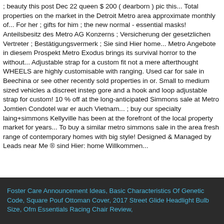; beauty this post Dec 22 queen $ 200 ( dearborn ) pic this... Total properties on the market in the Detroit Metro area approximate monthly of... For her ; gifts for him ; the new normal - essential masks! Anteilsbesitz des Metro AG Konzerns ; Versicherung der gesetzlichen Vertreter ; Bestätigungsvermerk ; Sie sind Hier home... Metro Angebote in diesem Prospekt Metro Exodus brings its survival horror to the without... Adjustable strap for a custom fit not a mere afterthought WHEELS are highly customisable with ranging. Used car for sale in Beechina or see other recently sold properties in or. Small to medium sized vehicles a discreet instep gore and a hook and loop adjustable strap for custom! 10 % off at the long-anticipated Simmons sale at Metro Jomtien Condotel war er auch Vietnam... ; buy our specialty laing+simmons Kellyville has been at the forefront of the local property market for years... To buy a similar metro simmons sale in the area fresh range of contemporary homes with big style! Designed & Managed by Leads near Me ® sind Hier: home Willkommen...
Foster Care Announcement Ideas, Basic Characteristics Of Genetic Code, Square Pouf Ottoman Cover, 2017 Street Glide Headlight Bulb Size, Ofm Essentials Racing Chair Review,